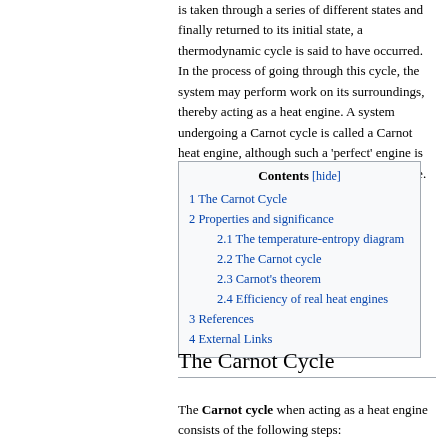is taken through a series of different states and finally returned to its initial state, a thermodynamic cycle is said to have occurred. In the process of going through this cycle, the system may perform work on its surroundings, thereby acting as a heat engine. A system undergoing a Carnot cycle is called a Carnot heat engine, although such a 'perfect' engine is only theoretical and cannot be built in practice.
| Contents [hide] |
| 1 The Carnot Cycle |
| 2 Properties and significance |
| 2.1 The temperature-entropy diagram |
| 2.2 The Carnot cycle |
| 2.3 Carnot's theorem |
| 2.4 Efficiency of real heat engines |
| 3 References |
| 4 External Links |
The Carnot Cycle
The Carnot cycle when acting as a heat engine consists of the following steps: